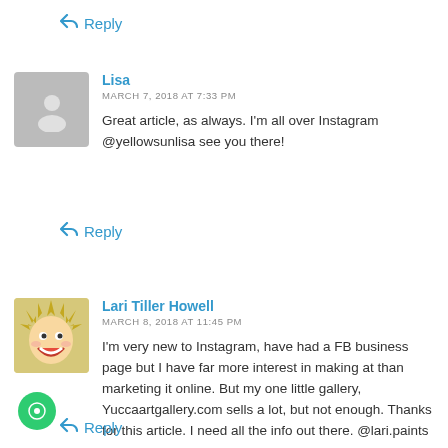↩ Reply
Lisa
MARCH 7, 2018 AT 7:33 PM
Great article, as always. I'm all over Instagram @yellowsunlisa see you there!
↩ Reply
Lari Tiller Howell
MARCH 8, 2018 AT 11:45 PM
I'm very new to Instagram, have had a FB business page but I have far more interest in making at than marketing it online. But my one little gallery, Yuccaartgallery.com sells a lot, but not enough. Thanks for this article. I need all the info out there. @lari.paints
↩ Reply